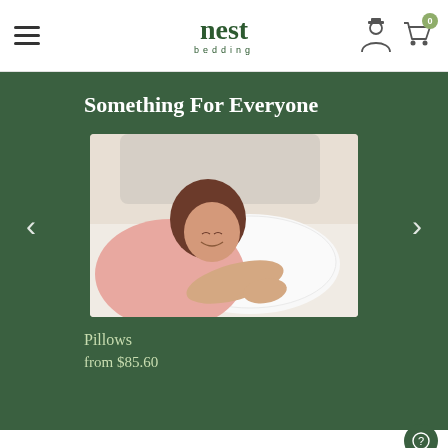nest bedding – navigation header with hamburger menu, logo, user/cart icons
Something For Everyone
[Figure (photo): Woman smiling with eyes closed, lying on a white pillow in bed, wearing a pink top. Nest Bedding branded pillow visible.]
Pillows
from $85.60